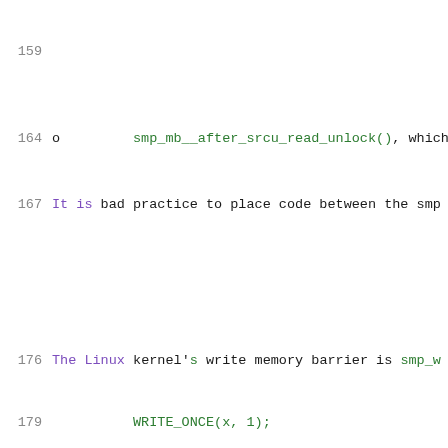160  o   smp_mb__after_spinlock(), which provides to a successful spinlock acquisition. always successful but spin_trylock() mi
164  o   smp_mb__after_srcu_read_unlock(), which subsequent to an srcu_read_unlock().
167  It is bad practice to place code between the smp operation whose ordering that it is augmenting. ordering of this intervening code will differ f to another.
173  Write Memory Barrier
174  ----------------------
176  The Linux kernel's write memory barrier is smp_w the following code:
179       WRITE_ONCE(x, 1);
180       smp_wmb();